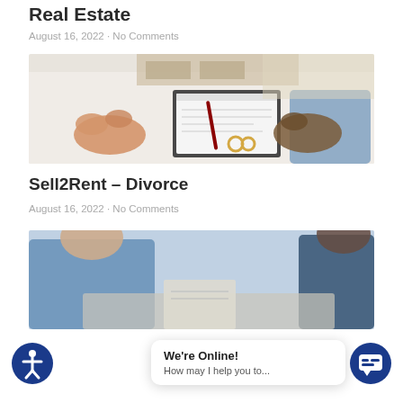Real Estate
August 16, 2022 · No Comments
[Figure (photo): Two people sitting across a table with a clipboard, a pen, and two wedding rings, suggesting a divorce or legal consultation meeting.]
Sell2Rent – Divorce
August 16, 2022 · No Comments
[Figure (photo): Two people at a table in a consultation setting, partially visible.]
We're Online!
How may I help you to...